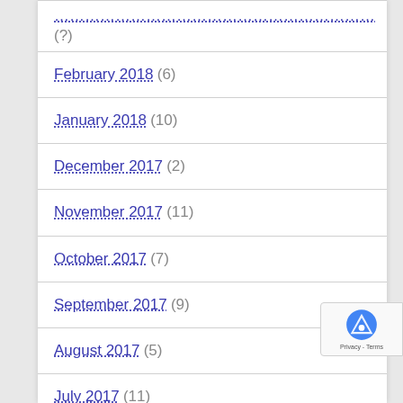… (?)
February 2018 (6)
January 2018 (10)
December 2017 (2)
November 2017 (11)
October 2017 (7)
September 2017 (9)
August 2017 (5)
July 2017 (11)
June 2017 (13)
May 2017 (11)